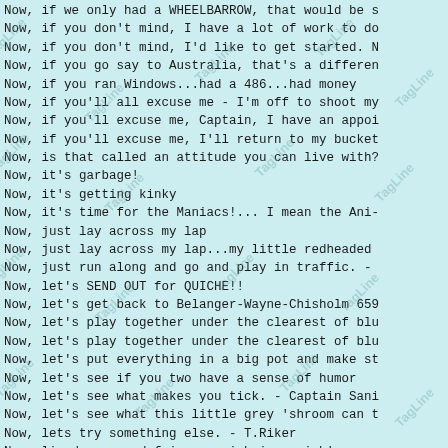Now, if we only had a WHEELBARROW, that would be s
Now, if you don't mind, I have a lot of work to do
Now, if you don't mind, I'd like to get started. N
Now, if you go say to Australia, that's a differen
Now, if you ran Windows...had a 486...had money
Now, if you'll all excuse me - I'm off to shoot my
Now, if you'll excuse me, Captain, I have an appoi
Now, if you'll excuse me, I'll return to my bucket
Now, is that called an attitude you can live with?
Now, it's garbage!
Now, it's getting kinky
Now, it's time for the Maniacs!... I mean the Ani-
Now, just lay across my lap
Now, just lay across my lap...my little redheaded
Now, just run along and go and play in traffic. -
Now, let's SEND OUT for QUICHE!!
Now, let's get back to Belanger-Wayne-Chisholm 659
Now, let's play together under the clearest of blu
Now, let's play together under the clearest of blu
Now, let's put everything in a big pot and make st
Now, let's see if you two have a sense of humor
Now, let's see what makes you tick. - Captain Sani
Now, let's see what this little grey 'shroom can t
Now, lets try something else. - T.Riker
Now, lie down, good fairy, a wish is a wish!
Now, live forever, beautiful Wolfkiller. -Magnus t
Now, more than ever, it's specialty breads - Crow
Now, now you belong to all of us. - Leila Kalomi
Now, now, we're not schizophrenic, am I?
Now, now.... that's cheating.
Now, pay attention, dolt! - Master Garkin